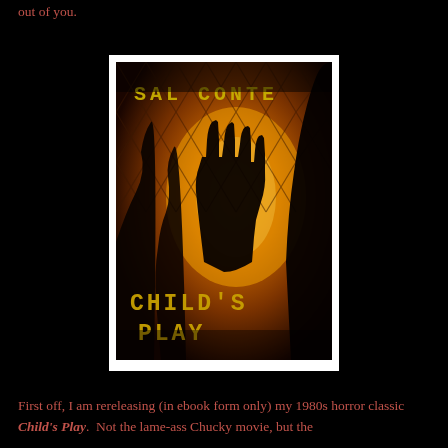out of you.
[Figure (illustration): Book cover for 'Child's Play' by Sal Conte. Dark horror cover featuring silhouetted figures reaching through a chain-link fence with a fiery orange/amber background. Author name 'SAL CONTE' appears at top in yellow stencil-style letters, and title 'CHILD'S PLAY' appears at bottom in yellow stencil-style letters.]
First off, I am rereleasing (in ebook form only) my 1980s horror classic Child's Play.  Not the lame-ass Chucky movie, but the